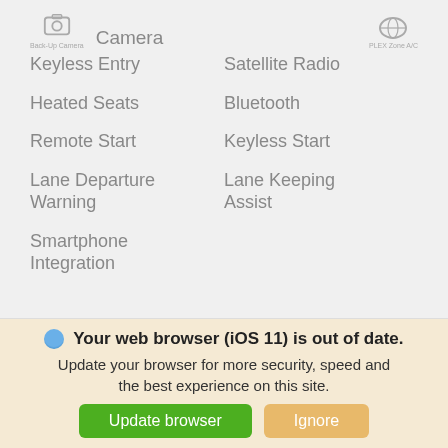Camera
Keyless Entry
Heated Seats
Remote Start
Lane Departure Warning
Smartphone Integration
Satellite Radio
Bluetooth
Keyless Start
Lane Keeping Assist
Overview
Recent Arrival! 2019 Nissan Altima 2.5 SV FWD 2.5L 4-
Your web browser (iOS 11) is out of date. Update your browser for more security, speed and the best experience on this site.
Update browser
Ignore